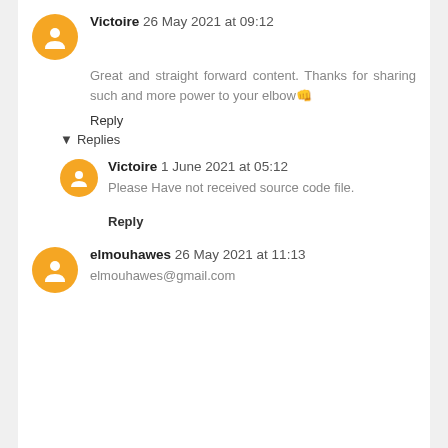Victoire 26 May 2021 at 09:12
Great and straight forward content. Thanks for sharing such and more power to your elbow👊
Reply
Replies
Victoire 1 June 2021 at 05:12
Please Have not received source code file.
Reply
elmouhawes 26 May 2021 at 11:13
elmouhawes@gmail.com